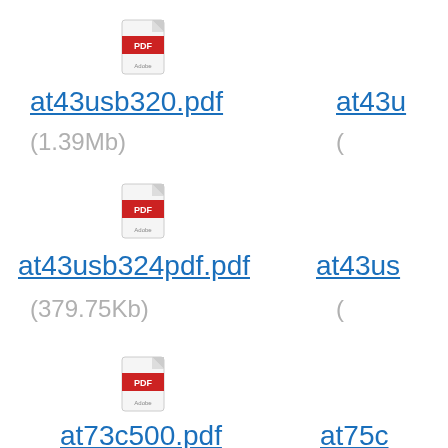[Figure (other): PDF file icon for at43usb320.pdf]
at43usb320.pdf
(1.39Mb)
[Figure (other): PDF file icon for at43usb324pdf.pdf]
at43usb324pdf.pdf
(379.75Kb)
[Figure (other): PDF file icon for at73c500.pdf]
at73c500.pdf
(491.5Kb)
[Figure (other): PDF file icon (partially visible, right column, row 1)]
at43u
(
[Figure (other): PDF file icon (partially visible, right column, row 2)]
at43us
(
at75c